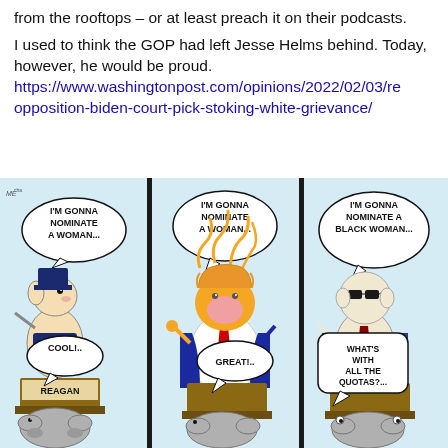from the rooftops – or at least preach it on their podcasts.

I used to think the GOP had left Jesse Helms behind. Today, however, he would be proud.
https://www.washingtonpost.com/opinions/2022/02/03/re opposition-biden-court-pick-stoking-white-grievance/
[Figure (illustration): A three-panel political cartoon. Panel 1: Reagan at a podium with elephant mascot, saying 'I'M GONNA NOMINATE A WOMAN...' with a response bubble 'COOL!..'. Panel 2: Trump-like figure with orange hair at a podium, saying 'I'M GONNA NOMINATE A WOMAN...' with response bubble 'GREAT!..'. Panel 3: A figure at a podium with elephant mascot, saying 'I'M GONNA NOMINATE A BLACK WOMAN...' with response bubble 'WHAT'S WITH ALL THE QUOTAS?']